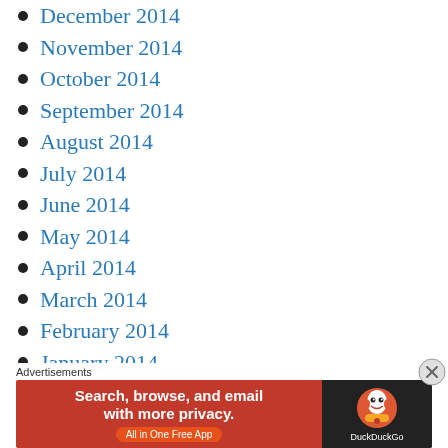December 2014
November 2014
October 2014
September 2014
August 2014
July 2014
June 2014
May 2014
April 2014
March 2014
February 2014
January 2014
December 2013
November 2013
Advertisements
[Figure (infographic): DuckDuckGo advertisement banner: 'Search, browse, and email with more privacy. All in One Free App' on red background with DuckDuckGo logo on dark background.]